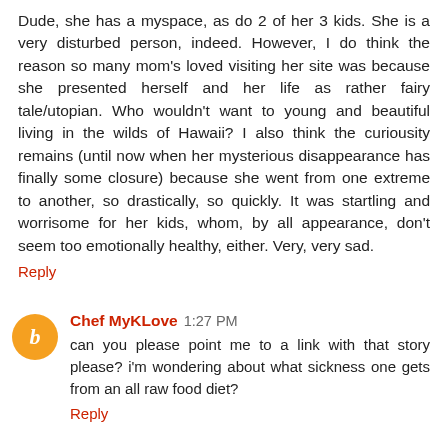Dude, she has a myspace, as do 2 of her 3 kids. She is a very disturbed person, indeed. However, I do think the reason so many mom's loved visiting her site was because she presented herself and her life as rather fairy tale/utopian. Who wouldn't want to young and beautiful living in the wilds of Hawaii? I also think the curiousity remains (until now when her mysterious disappearance has finally some closure) because she went from one extreme to another, so drastically, so quickly. It was startling and worrisome for her kids, whom, by all appearance, don't seem too emotionally healthy, either. Very, very sad.
Reply
Chef MyKLove  1:27 PM
can you please point me to a link with that story please? i'm wondering about what sickness one gets from an all raw food diet?
Reply